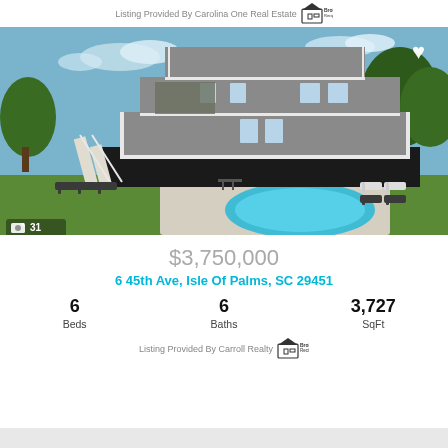Listing Provided By Carolina One Real Estate  Broker Reciprocity
[Figure (photo): Exterior photo of a large multi-story beach house with multiple decks, screened porches, and a private in-ground pool surrounded by lounge chairs and green lawn. Photo count indicator shows 31.]
$3,750,000
6 45th Ave, Isle Of Palms, SC 29451
6 Beds   6 Baths   3,727 SqFt
Listing Provided By Carroll Realty  Broker Reciprocity